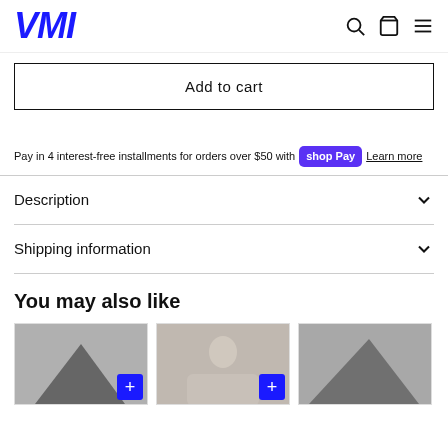VMI
Add to cart
Pay in 4 interest-free installments for orders over $50 with Shop Pay  Learn more
Description
Shipping information
You may also like
[Figure (photo): Product thumbnail image 1 - dark clothing item]